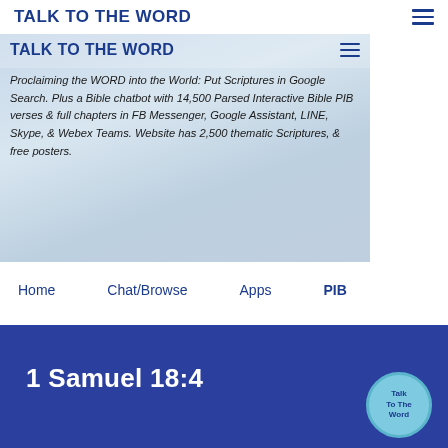TALK TO THE WORD
[Figure (screenshot): Hero banner with repeated site title 'TALK TO THE WORD' and italic description text about proclaiming the Word into the World with Bible chatbot and scriptures]
Proclaiming the WORD into the World: Put Scriptures in Google Search. Plus a Bible chatbot with 14,500 Parsed Interactive Bible PIB verses & full chapters in FB Messenger, Google Assistant, LINE, Skype, & Webex Teams. Website has 2,500 thematic Scriptures, & free posters.
Home
Chat/Browse
Apps
PIB
1 Samuel 18:4